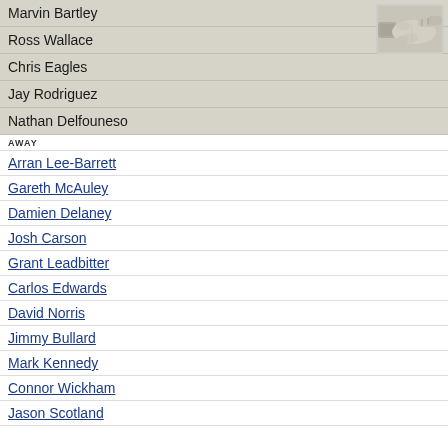Marvin Bartley
Ross Wallace
Chris Eagles
Jay Rodriguez
Nathan Delfouneso
[Figure (illustration): A pointing hand / fist illustration icon in the top-right corner of the home section]
AWAY
Arran Lee-Barrett
Gareth McAuley
Damien Delaney
Josh Carson
Grant Leadbitter
Carlos Edwards
David Norris
Jimmy Bullard
Mark Kennedy
Connor Wickham
Jason Scotland